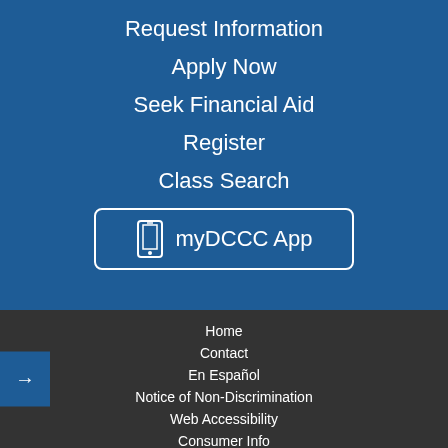Request Information
Apply Now
Seek Financial Aid
Register
Class Search
[Figure (other): myDCCC App button with phone icon and rounded border]
Home
Contact
En Español
Notice of Non-Discrimination
Web Accessibility
Consumer Info
901 S. Media Line Rd, Media, PA 19063